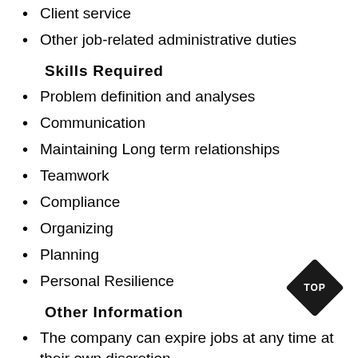Client service
Other job-related administrative duties
Skills Required
Problem definition and analyses
Communication
Maintaining Long term relationships
Teamwork
Compliance
Organizing
Planning
Personal Resilience
Other Information
The company can expire jobs at any time at their own discretion.
VKB Group and/or its subsidiary companies will use any personal data collected through the job opportunities section of this website for recruitment